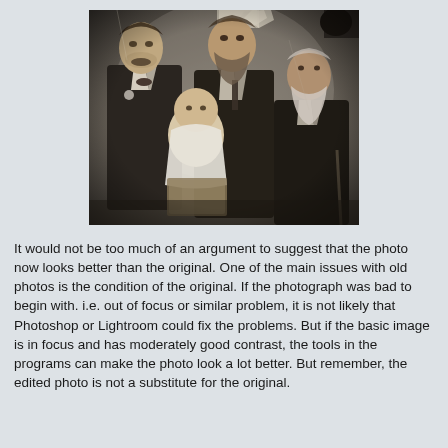[Figure (photo): An old black-and-white photograph showing four people: two men standing in the back, a baby held in the center, and an elderly man seated on the right. The photo appears aged and damaged with tears and spots.]
It would not be too much of an argument to suggest that the photo now looks better than the original. One of the main issues with old photos is the condition of the original. If the photograph was bad to begin with. i.e. out of focus or similar problem, it is not likely that Photoshop or Lightroom could fix the problems. But if the basic image is in focus and has moderately good contrast, the tools in the programs can make the photo look a lot better. But remember, the edited photo is not a substitute for the original.